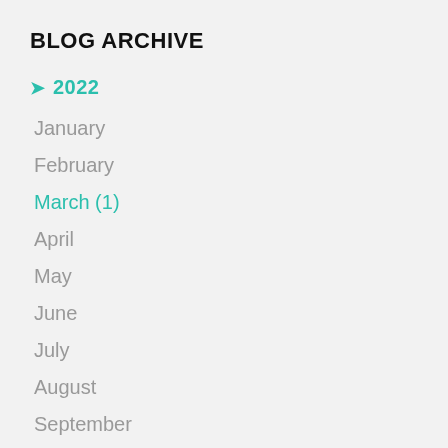BLOG ARCHIVE
2022
January
February
March (1)
April
May
June
July
August
September
October
November